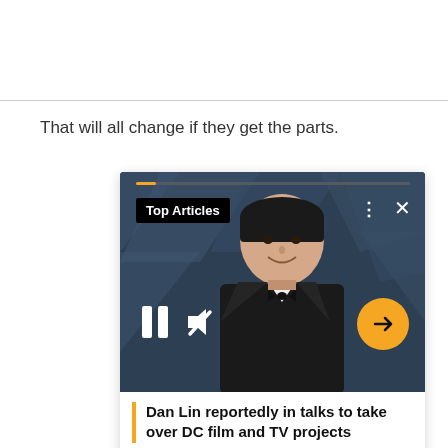That will all change if they get the parts.
[Figure (screenshot): A video player card overlay showing a man in a tuxedo (Dan Lin) against a dark blue background with a 'Top Articles' badge, pause and mute controls, an orange arrow button, and the headline 'Dan Lin reportedly in talks to take over DC film and TV projects' with an orange left border.]